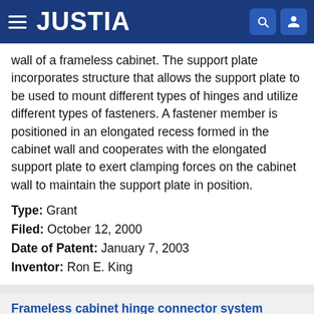JUSTIA
wall of a frameless cabinet. The support plate incorporates structure that allows the support plate to be used to mount different types of hinges and utilize different types of fasteners. A fastener member is positioned in an elongated recess formed in the cabinet wall and cooperates with the elongated support plate to exert clamping forces on the cabinet wall to maintain the support plate in position.
Type: Grant
Filed: October 12, 2000
Date of Patent: January 7, 2003
Inventor: Ron E. King
Frameless cabinet hinge connector system
Patent number: 6353966
Abstract: A hinge is attached to a cabinet wall of a frameless cabinet by an elongated support plate. The